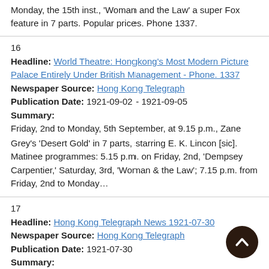Monday, the 15th inst., 'Woman and the Law' a super Fox feature in 7 parts. Popular prices. Phone 1337.
16
Headline: World Theatre: Hongkong's Most Modern Picture Palace Entirely Under British Management - Phone. 1337
Newspaper Source: Hong Kong Telegraph
Publication Date: 1921-09-02 - 1921-09-05
Summary:
Friday, 2nd to Monday, 5th September, at 9.15 p.m., Zane Grey's 'Desert Gold' in 7 parts, starring E. K. Lincon [sic]. Matinee programmes: 5.15 p.m. on Friday, 2nd, 'Dempsey Carpentier,' Saturday, 3rd, 'Woman & the Law'; 7.15 p.m. from Friday, 2nd to Monday…
17
Headline: Hong Kong Telegraph News 1921-07-30
Newspaper Source: Hong Kong Telegraph
Publication Date: 1921-07-30
Summary: